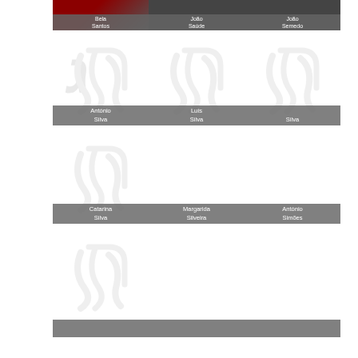[Figure (photo): Top row of three person photos with name labels: Bela Santos, João Saúde, João Semedo]
[Figure (photo): Three ISR placeholder images with name labels: António Silva, Luís Silva, Silva]
[Figure (photo): Three ISR placeholder images with name labels: Catarina Silva, Margarida Silveira, António Simões]
[Figure (photo): Partial row of ISR placeholder images, bottom labels partially visible]